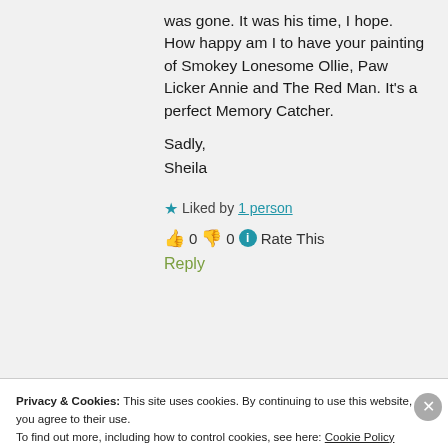was gone. It was his time, I hope. How happy am I to have your painting of Smokey Lonesome Ollie, Paw Licker Annie and The Red Man. It’s a perfect Memory Catcher.
Sadly,
Sheila
★ Liked by 1 person
👍 0 👎 0 ⓘ Rate This
Reply
Privacy & Cookies: This site uses cookies. By continuing to use this website, you agree to their use.
To find out more, including how to control cookies, see here: Cookie Policy
Close and accept